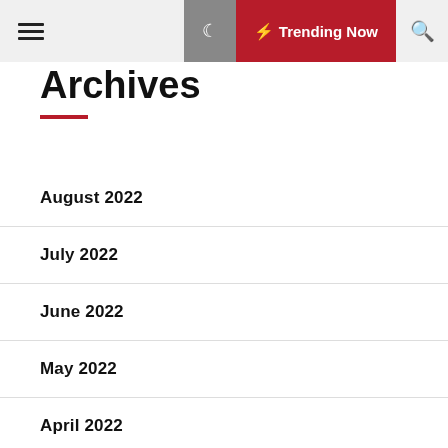☰ Trending Now 🔍
Archives
August 2022
July 2022
June 2022
May 2022
April 2022
March 2022
February 2022